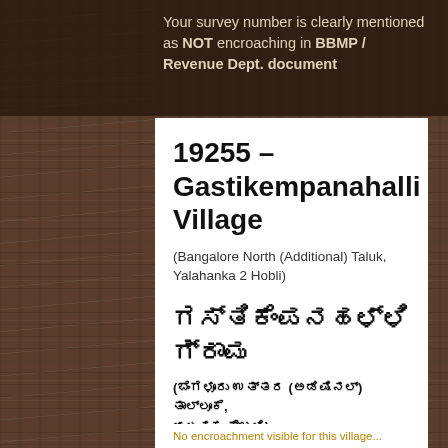Your survey number is clearly mentioned as NOT encroaching in BBMP / Revenue Dept. document
19255 – Gastikempanahalli Village
(Bangalore North (Additional) Taluk, Yalahanka 2 Hobli)
ಗಸ್ತಿಕೆಂಪನಹಳ್ಳಿ ಗ್ರಾಮ
(ಬೆಂಗಳೂರು ಉತ್ತರ (ಅಡಿಷಿನಲ್) ತಾಲ್ಲೂಕೆ, ಯಲಹಂಕ ಹೋಬಳಿ)